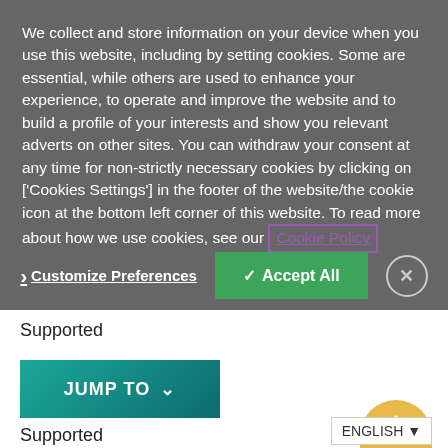We collect and store information on your device when you use this website, including by setting cookies. Some are essential, while others are used to enhance your experience, to operate and improve the website and to build a profile of your interests and show you relevant adverts on other sites. You can withdraw your consent at any time for non-strictly necessary cookies by clicking on ['Cookies Settings'] in the footer of the website/the cookie icon at the bottom left corner of this website. To read more about how we use cookies, see our Cookie Policy
> Customize Preferences
✓ Accept All
Supported
[Figure (other): JUMP TO button with dropdown arrow, teal/dark teal gradient background]
Supported
[Figure (other): Scroll to top button, yellow/gold semicircle with upward chevron]
ENGLISH ▼